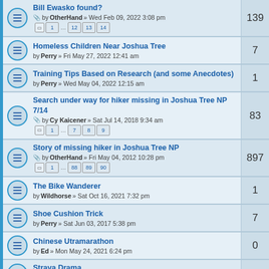Bill Ewasko found? by OtherHand » Wed Feb 09, 2022 3:08 pm [1 ... 12 13 14] 139
Homeless Children Near Joshua Tree by Perry » Fri May 27, 2022 12:41 am 7
Training Tips Based on Research (and some Anecdotes) by Perry » Wed May 04, 2022 12:15 am 1
Search under way for hiker missing in Joshua Tree NP 7/14 by Cy Kaicener » Sat Jul 14, 2018 9:34 am [1 ... 7 8 9] 83
Story of missing hiker in Joshua Tree NP by OtherHand » Fri May 04, 2012 10:28 pm [1 ... 88 89 90] 897
The Bike Wanderer by Wildhorse » Sat Oct 16, 2021 7:32 pm 1
Shoe Cushion Trick by Perry » Sat Jun 03, 2017 5:38 pm 7
Chinese Utramarathon by Ed » Mon May 24, 2021 6:24 pm 0
Strava Drama by Perry » Mon Nov 16, 2020 1:48 pm [1 2] 11
Mystery of Death at Waterfall in Yosemite NP by Sally » Thu Apr 09, 2020 2:01 pm [1 2] 12
Weird missing hiker case near San Bernadino